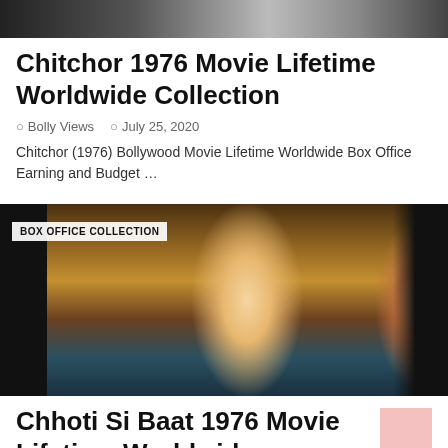[Figure (photo): Top strip showing partial movie images]
Chitchor 1976 Movie Lifetime Worldwide Collection
Bolly Views   July 25, 2020
Chitchor (1976) Bollywood Movie Lifetime Worldwide Box Office Earning and Budget …
[Figure (photo): Movie still from a 1976 Bollywood film showing a man in white shirt and a woman in colorful sari, with BOX OFFICE COLLECTION badge overlay]
Chhoti Si Baat 1976 Movie Lifetime Worldwide Collection